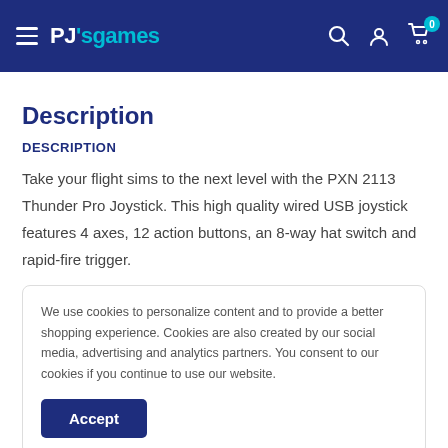PJ's games — navigation header with search, account, and cart icons
Description
DESCRIPTION
Take your flight sims to the next level with the PXN 2113 Thunder Pro Joystick. This high quality wired USB joystick features 4 axes, 12 action buttons, an 8-way hat switch and rapid-fire trigger.
We use cookies to personalize content and to provide a better shopping experience. Cookies are also created by our social media, advertising and analytics partners. You consent to our cookies if you continue to use our website.
Accept